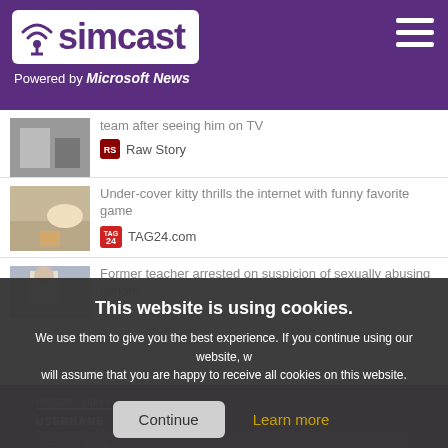[Figure (logo): Simcast logo with signal tower icon on purple background, powered by Microsoft News]
team after seeing him on TV
Raw Story
Under-cover kitty thrills the internet with funny favorite game
TAG24.com
Former teacher arrested on suspicion of sexually abusing minors
This website is using cookies.
We use them to give you the best experience. If you continue using our website, we will assume that you are happy to receive all cookies on this website.
Continue
Learn more
USERNAME
Email Address
PASSWORD